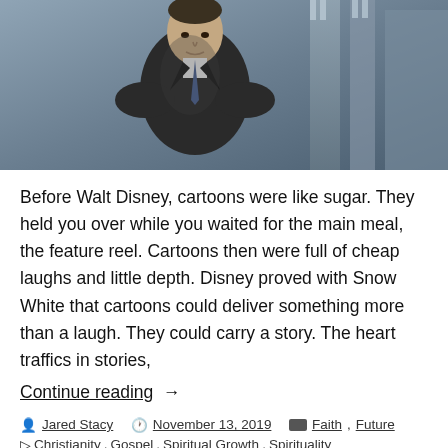[Figure (photo): Black and white photograph of a middle-aged man in a dark suit and tie, standing in front of a stone castle or building structure. The man appears to be Walt Disney.]
Before Walt Disney, cartoons were like sugar. They held you over while you waited for the main meal, the feature reel. Cartoons then were full of cheap laughs and little depth. Disney proved with Snow White that cartoons could deliver something more than a laugh. They could carry a story. The heart traffics in stories,
Continue reading →
Jared Stacy   November 13, 2019   Faith, Future
Christianity, Gospel, Spiritual Growth, Spirituality